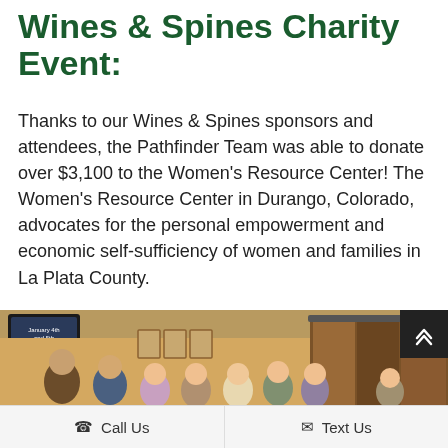Wines & Spines Charity Event:
Thanks to our Wines & Spines sponsors and attendees, the Pathfinder Team was able to donate over $3,100 to the Women's Resource Center! The Women's Resource Center in Durango, Colorado, advocates for the personal empowerment and economic self-sufficiency of women and families in La Plata County.
[Figure (photo): Group photo of Pathfinder team members standing together indoors at the Wines & Spines charity event. A TV screen in the background shows 'January 4th and 5th'. A wood-paneled barn door is visible on the right side.]
Call Us    Text Us